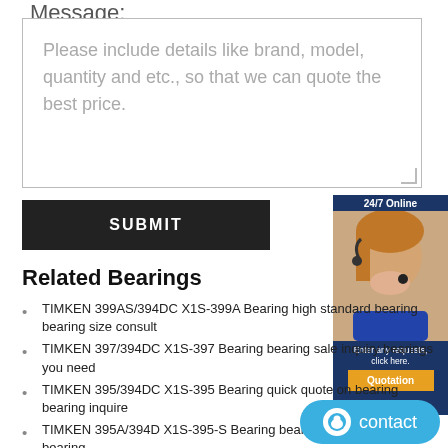Message:
Please include details like brand, model, quantity and etc., so that we can quote the best price.
SUBMIT
[Figure (photo): 24/7 Online chat widget with a woman wearing a headset, text 'Enter any requests, click here.' and 'Quotation' button]
Related Bearings
TIMKEN 399AS/394DC X1S-399A Bearing high standard bearing bearing size consult
TIMKEN 397/394DC X1S-397 Bearing bearing sale inquiry bearings you need
TIMKEN 395/394DC X1S-395 Bearing quick quote on bearing bearing inquire
TIMKEN 395A/394D X1S-395-S Bearing bearing inquire price brand bearing
TIMKEN 395-S/394D X3S-395-S Bearing bearings bearing
TIMKEN 395-S/394AS bearings - TIMKEN BEARING – Products
[Figure (screenshot): Blue contact chat widget button at bottom right]